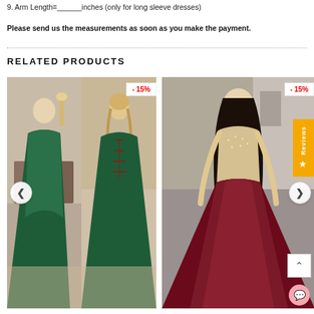9. Arm Length=______inches (only for long sleeve dresses)
Please send us the measurements as soon as you make the payment.
RELATED PRODUCTS
[Figure (photo): Green satin prom dress shown from front and back view, with lace-up back, strapless neckline. -15% discount badge shown.]
[Figure (photo): Burgundy/red satin prom dress with beaded bodice worn by dark-haired model outdoors. -15% discount badge shown.]